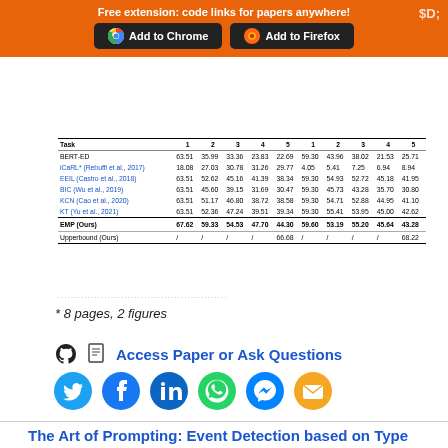Free extension: code links for papers anywhere! Add to Chrome  Add to Firefox
| Task | 1 | 2 | 3 | 4 | 5 | 1 | 2 | 3 | 4 | 5 |
| --- | --- | --- | --- | --- | --- | --- | --- | --- | --- | --- |
| BERT-ED | 63.51 | 35.99 | 33.36 | 23.83 | 22.69 | 59.30 | 43.96 | 38.02 | 21.53 | 25.71 |
| iCaRL* (Rebuffi et al., 2017) | 18.08 | 27.03 | 30.78 | 31.26 | 29.77 | 4.05 | 5.41 | 7.25 | 6.94 | 8.94 |
| EEIL (Castro et al., 2018) | 63.51 | 52.62 | 45.16 | 41.39 | 38.34 | 59.30 | 54.93 | 52.72 | 45.18 | 41.95 |
| BIC (Wu et al., 2019) | 63.51 | 45.60 | 39.15 | 31.69 | 30.47 | 59.30 | 45.73 | 43.28 | 35.70 | 30.80 |
| KCN (Cao et al., 2020) | 63.51 | 51.17 | 46.80 | 38.72 | 38.58 | 59.30 | 54.71 | 52.88 | 44.95 | 41.10 |
| KT (Yu et al., 2021) | 63.51 | 52.36 | 47.24 | 39.51 | 39.34 | 59.30 | 55.41 | 53.95 | 45.00 | 42.62 |
| EMP (Ours) | 67.62 | 59.33 | 54.53 | 47.70 | 44.30 | 59.60 | 53.19 | 55.20 | 45.64 | 43.28 |
| Upperbound (Ours) | / | / | / | / | 66.68 | / | / | / | / | 68.22 |
* 8 pages, 2 figures
Access Paper or Ask Questions
[Figure (other): Social sharing icons: Twitter, Facebook, LinkedIn, WhatsApp, Messenger, Email]
The Art of Prompting: Event Detection based on Type Specific Prompts